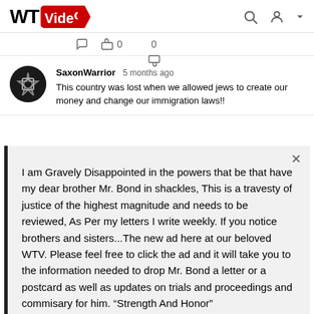WT Video
0  0
SaxonWarrior 5 months ago
This country was lost when we allowed jews to create our money and change our immigration laws!!
I am Gravely Disappointed in the powers that be that have my dear brother Mr. Bond in shackles, This is a travesty of justice of the highest magnitude and needs to be reviewed, As Per my letters I write weekly. If you notice brothers and sisters...The new ad here at our beloved WTV. Please feel free to click the ad and it will take you to the information needed to drop Mr. Bond a letter or a postcard as well as updates on trials and proceedings and commisary for him. "Strength And Honor"